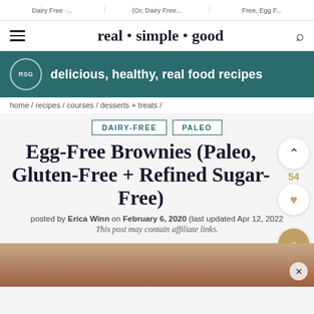Dairy Free · ... | (Or, Dairy Free... | Free, Egg F...
real · simple · good
delicious, healthy, real food recipes
home / recipes / courses / desserts + treats /
DAIRY-FREE   PALEO
Egg-Free Brownies (Paleo, Gluten-Free + Refined Sugar-Free)
posted by Erica Winn on February 6, 2020 (last updated Apr 12, 2022)
This post may contain affiliate links.
[Figure (photo): Bottom portion showing a brownie photo strip, partial view]